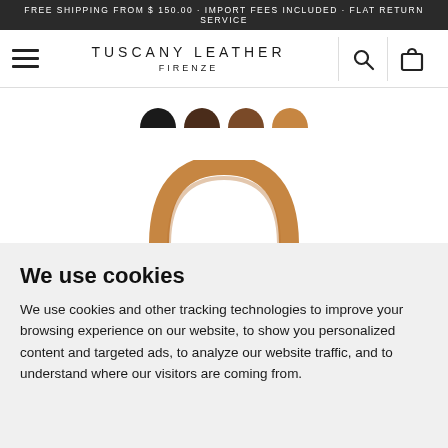FREE SHIPPING FROM $ 150.00 · IMPORT FEES INCLUDED · FLAT RETURN SERVICE
[Figure (screenshot): Tuscany Leather Firenze navigation bar with hamburger menu, brand name, search icon, and shopping bag icon]
[Figure (photo): Product color swatches (black, dark brown, medium brown, tan/caramel) shown as half-circles, and a leather bag handle in tan/caramel color partially visible]
We use cookies
We use cookies and other tracking technologies to improve your browsing experience on our website, to show you personalized content and targeted ads, to analyze our website traffic, and to understand where our visitors are coming from.